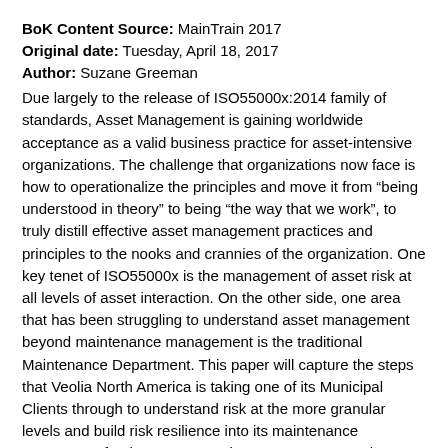BoK Content Source: MainTrain 2017
Original date: Tuesday, April 18, 2017
Author: Suzane Greeman
Due largely to the release of ISO55000x:2014 family of standards, Asset Management is gaining worldwide acceptance as a valid business practice for asset-intensive organizations. The challenge that organizations now face is how to operationalize the principles and move it from “being understood in theory” to being “the way that we work”, to truly distill effective asset management practices and principles to the nooks and crannies of the organization. One key tenet of ISO55000x is the management of asset risk at all levels of asset interaction. On the other side, one area that has been struggling to understand asset management beyond maintenance management is the traditional Maintenance Department. This paper will capture the steps that Veolia North America is taking one of its Municipal Clients through to understand risk at the more granular levels and build risk resilience into its maintenance strategy.Yet for the average Maintenance Manager, the challenge of interpreting asset risk for the organization is still uncharted waters. There are several ways in which the traditional Maintenance Manager can understand the wide breadth of risks facing the asset...